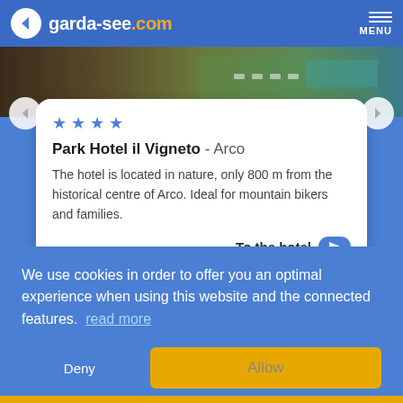garda-see.com  MENU
[Figure (screenshot): Hotel aerial/garden photo strip at top of carousel]
★ ★ ★ ★
Park Hotel il Vigneto  - Arco
The hotel is located in nature, only 800 m from the historical centre of Arco. Ideal for mountain bikers and families.
To the hotel →
We use cookies in order to offer you an optimal experience when using this website and the connected features.  read more
Deny
Allow